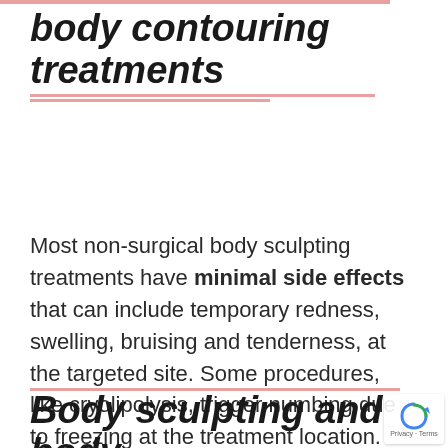body contouring treatments
Most non-surgical body sculpting treatments have minimal side effects that can include temporary redness, swelling, bruising and tenderness, at the targeted site. Some procedures, like cryolipolysis, trigger numbing due to freezing at the treatment location.
Body sculpting and body